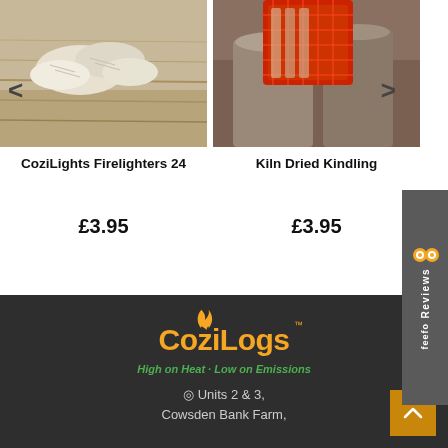[Figure (photo): Photo of white/cream colored firelighters on a wooden surface]
[Figure (photo): Photo of red mesh bag of kiln dried kindling with logs]
CoziLights Firelighters 24
£3.95
Kiln Dried Kindling
£3.95
[Figure (logo): Feefo Reviews tab on right side]
[Figure (logo): CoziLogs logo with flame icon, orange text]
High on Heat · Low on Emissions
Units 2 & 3,
Cowsden Bank Farm,